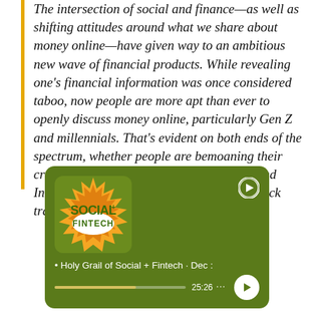The intersection of social and finance—as well as shifting attitudes around what we share about money online—have given way to an ambitious new wave of financial products. While revealing one's financial information was once considered taboo, now people are more apt than ever to openly discuss money online, particularly Gen Z and millennials. That's evident on both ends of the spectrum, whether people are bemoaning their crushing levels of student debt on Twitter and Instagram or bragging about their latest stock trades on WallStreetBets.
[Figure (screenshot): Spotify podcast player card with dark olive/green background showing the 'Social+ Fintech' podcast logo (yellow starburst with green text), Spotify icon top right, episode title '• Holy Grail of Social + Fintech · Dec :', progress bar at ~62%, timestamp 25:26, ellipsis menu, and circular play button.]